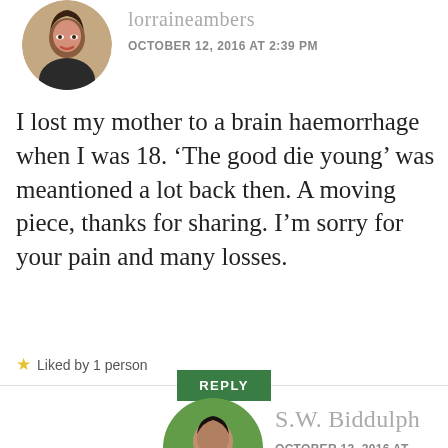[Figure (photo): Circular avatar photo of a woman with brown hair and red lips, partially visible at top of page]
lorraineambers
OCTOBER 12, 2016 AT 2:39 PM
I lost my mother to a brain haemorrhage when I was 18. ‘The good die young’ was meantioned a lot back then. A moving piece, thanks for sharing. I’m sorry for your pain and many losses.
Liked by 1 person
REPLY
[Figure (photo): Circular avatar photo of a bearded man in a dark jacket]
S.W. Biddulph
OCTOBER 12, 2016 AT 6:23 PM